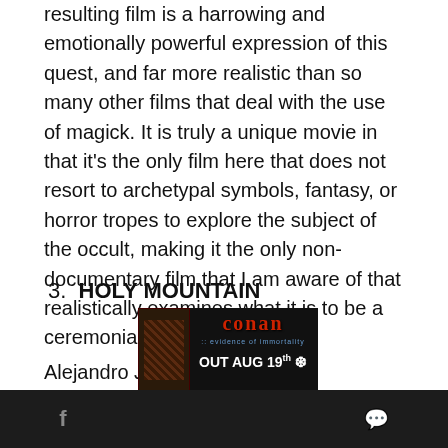resulting film is a harrowing and emotionally powerful expression of this quest, and far more realistic than so many other films that deal with the use of magick. It is truly a unique movie in that it's the only film here that does not resort to archetypal symbols, fantasy, or horror tropes to explore the subject of the occult, making it the only non-documentary film that I am aware of that realistically examines what it is to be a ceremonial magician.
3. HOLY MOUNTAIN
Alejandro Jodorowsky's masterpiece
[Figure (photo): Advertisement for Alexandro Jodorowsky's The Holy Mountain - blue background with triangle/pyramid imagery and bold text]
[Figure (photo): Bottom advertisement bar: black background with Conan logo in red gothic lettering and smaller album/media art, text reads 'OUT AUG 19th' with snowflake icon, and ':: evidence of immortality']